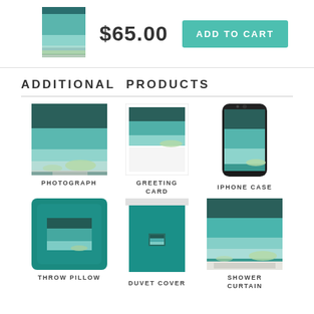[Figure (photo): Thumbnail of lake scene product image]
$65.00
ADD TO CART
ADDITIONAL PRODUCTS
[Figure (photo): Photograph product - lake scene print]
[Figure (photo): Greeting Card product - lake scene]
[Figure (photo): iPhone Case product - lake scene]
PHOTOGRAPH
GREETING CARD
IPHONE CASE
[Figure (photo): Throw Pillow product - teal pillow with lake scene]
[Figure (photo): Duvet Cover product - teal cover with lake scene]
[Figure (photo): Shower Curtain product - lake scene]
THROW PILLOW
DUVET COVER
SHOWER CURTAIN